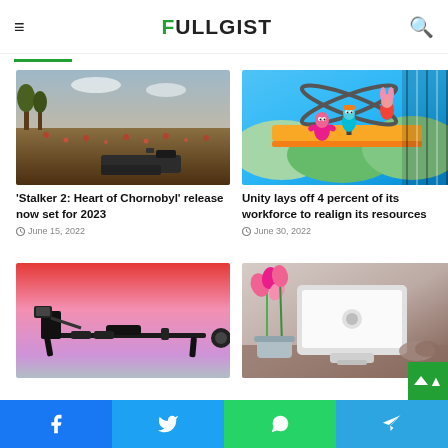FULLGIST
[Figure (screenshot): Dark moody landscape screenshot from Stalker 2: Heart of Chornobyl — a field with red flowers and trees under cloudy sky, first-person view with a rifle]
'Stalker 2: Heart of Chornobyl' release now set for 2023
June 15, 2022
[Figure (screenshot): Colorful cartoon game screenshot from Fall Guys — characters on a colorful obstacle course]
Unity lays off 4 percent of its workforce to realign its resources
June 30, 2022
[Figure (photo): Rowing machine silhouette on a pink-red sunset gradient background]
[Figure (photo): Google Nest Hub smart display on a table with pink flowers in background]
Facebook | Twitter | WhatsApp | Telegram